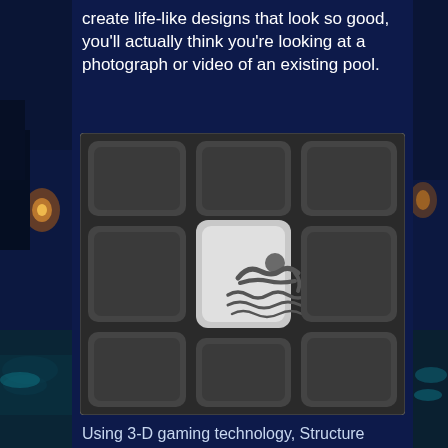create life-like designs that look so good, you'll actually think you're looking at a photograph or video of an existing pool.
[Figure (illustration): A keyboard key featuring a swimmer icon (person swimming with water waves beneath), surrounded by other dark keyboard keys, all rendered in gray tones.]
Using 3-D gaming technology, Structure Studios